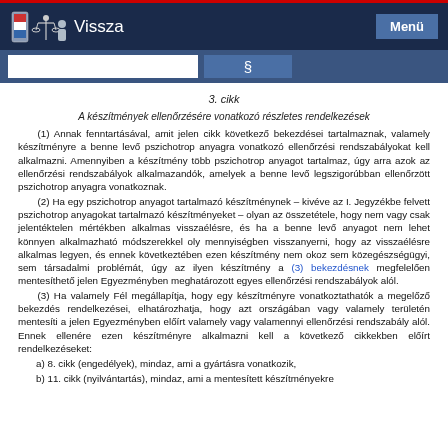Vissza   Menü
3. cikk
A készítmények ellenőrzésére vonatkozó részletes rendelkezések
(1) Annak fenntartásával, amit jelen cikk következő bekezdései tartalmaznak, valamely készítményre a benne levő pszichotrop anyagra vonatkozó ellenőrzési rendszabályokat kell alkalmazni. Amennyiben a készítmény több pszichotrop anyagot tartalmaz, úgy arra azok az ellenőrzési rendszabályok alkalmazandók, amelyek a benne levő legszigorúbban ellenőrzött pszichotrop anyagra vonatkoznak.
(2) Ha egy pszichotrop anyagot tartalmazó készítménynek – kivéve az I. Jegyzékbe felvett pszichotrop anyagokat tartalmazó készítményeket – olyan az összetétele, hogy nem vagy csak jelentéktelen mértékben alkalmas visszaélésre, és ha a benne levő anyagot nem lehet könnyen alkalmazható módszerekkel oly mennyiségben visszanyerni, hogy az visszaélésre alkalmas legyen, és ennek következtében ezen készítmény nem okoz sem közegészségügyi, sem társadalmi problémát, úgy az ilyen készítmény a (3) bekezdésnek megfelelően mentesíthető jelen Egyezményben meghatározott egyes ellenőrzési rendszabályok alól.
(3) Ha valamely Fél megállapítja, hogy egy készítményre vonatkoztathatók a megelőző bekezdés rendelkezései, elhatározhatja, hogy azt országában vagy valamely területén mentesíti a jelen Egyezményben előírt valamely vagy valamennyi ellenőrzési rendszabály alól. Ennek ellenére ezen készítményre alkalmazni kell a következő cikkekben előírt rendelkezéseket:
a) 8. cikk (engedélyek), mindaz, ami a gyártásra vonatkozik,
b) 11. cikk (nyilvántartás), mindaz, ami a mentesített készítményekre